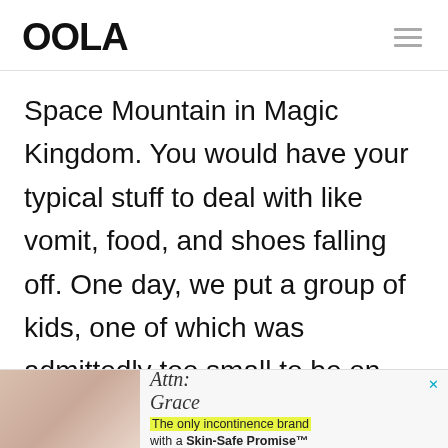OOLA
Space Mountain in Magic Kingdom. You would have your typical stuff to deal with like vomit, food, and shoes falling off. One day, we put a group of kids, one of which was admittedly too small to be on the ride, but we let him on because his bigger sister
[Figure (other): Advertisement banner: Attn: Grace brand with photo of person and text 'The only incontinence brand with a Skin-Safe Promise™']